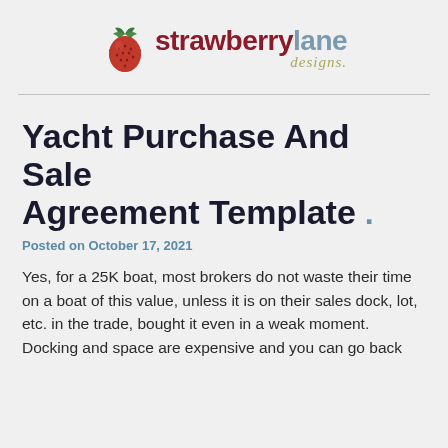[Figure (logo): Strawberry Lane Designs logo with strawberry icon and stylized text]
Yacht Purchase And Sale Agreement Template .
Posted on October 17, 2021
Yes, for a 25K boat, most brokers do not waste their time on a boat of this value, unless it is on their sales dock, lot, etc. in the trade, bought it even in a weak moment. Docking and space are expensive and you can go back